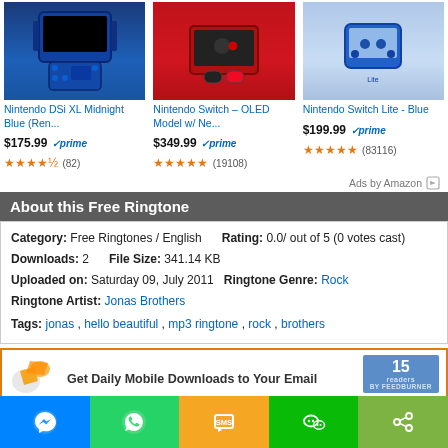[Figure (screenshot): Three Nintendo product listings from Amazon: Nintendo DSi XL Midnight Blue (Ren...) at $175.99 with Prime, 4.5 stars (82); Nintendo Switch – OLED Model w/ Ne... at $349.99 with Prime, 4.5 stars (19108); Nintendo Switch Lite - Blue at $199.99 with Prime, 4.5 stars (83116)]
Ads by Amazon
About this Free Ringtone
| Category: Free Ringtones / English | Rating: 0.0/ out of 5 (0 votes cast) |
| Downloads: 2 | File Size: 341.14 KB |
| Uploaded on: Saturday 09, July 2011 | Ringtone Genre: Rock |
| Ringtone Artist: Jonas Brothers |  |
| Tags: jonas , hello beautiful , mp3 ringtone , rock , brothers |  |
[Figure (screenshot): FeedBurner subscription box with icon and '15 readers BY FEEDBURNER' badge, text 'Get Daily Mobile Downloads to Your Email']
[Figure (infographic): Social share bar with 5 buttons: Messenger (blue), WhatsApp (green), SMS (orange/yellow), WeChat (green), More/Share (light green)]